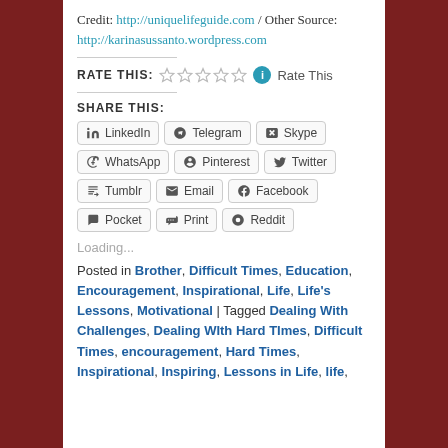Credit: http://uniquelifeguide.com / Other Source: http://karinasussanto.wordpress.com
RATE THIS: ☆☆☆☆☆ ⓘ Rate This
SHARE THIS:
LinkedIn  Telegram  Skype  WhatsApp  Pinterest  Twitter  Tumblr  Email  Facebook  Pocket  Print  Reddit
Loading...
Posted in Brother, Difficult Times, Education, Encouragement, Inspirational, Life, Life's Lessons, Motivational | Tagged Dealing With Challenges, Dealing WIth Hard TImes, Difficult Times, encouragement, Hard Times, Inspirational, Inspiring, Lessons in Life, life,